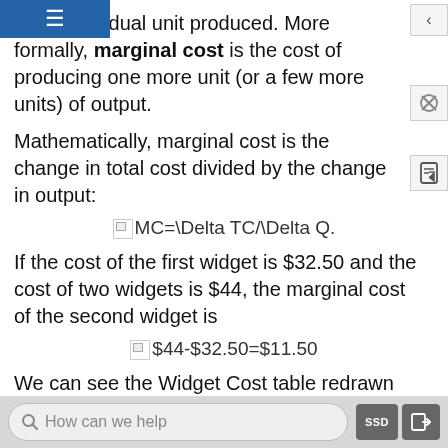each individual unit produced. More formally, marginal cost is the cost of producing one more unit (or a few more units) of output.
Mathematically, marginal cost is the change in total cost divided by the change in output:
If the cost of the first widget is $32.50 and the cost of two widgets is $44, the marginal cost of the second widget is
We can see the Widget Cost table redrawn below with average and marginal cost added.
Table 6. Extended Cost Function for Producing Widgets